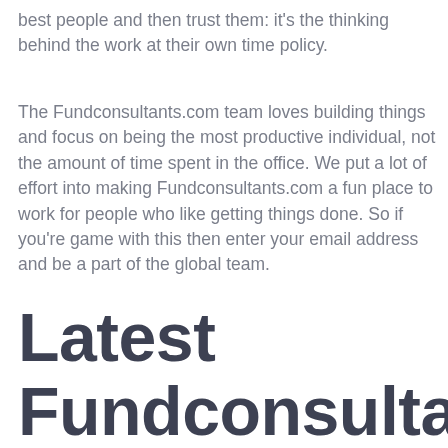best people and then trust them: it's the thinking behind the work at their own time policy.
The Fundconsultants.com team loves building things and focus on being the most productive individual, not the amount of time spent in the office. We put a lot of effort into making Fundconsultants.com a fun place to work for people who like getting things done. So if you're game with this then enter your email address and be a part of the global team.
Latest Fundconsultants.com